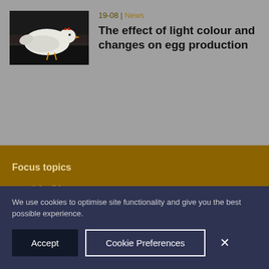[Figure (photo): White chicken/hen in a dark enclosure or barn setting]
19-08 | News
The effect of light colour and changes on egg production
Focus topics
Special editions
Health Tool
Gut Health
We use cookies to optimise site functionality and give you the best possible experience.
Accept
Cookie Preferences